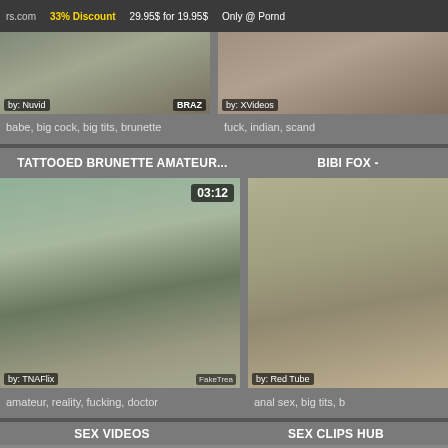rs.com  33% Discount  29.95$ for 19.95$  Only @ Pornd
[Figure (screenshot): Video thumbnail left top row, by Nuvid, BRAZ watermark]
[Figure (screenshot): Video thumbnail right top row, by XVideos]
babe, big cock, big tits, brunette
fuck, indian, scand
TATTOOED BRUNETTE AMATEUR...
[Figure (screenshot): Video thumbnail of doctor scene, duration 03:12, by TNAFlix, FakeTrea watermark]
amateur, reality, fucking, doctor
BIBI FOX -
[Figure (screenshot): Video thumbnail of adult scene, by Red Tube]
anal sex, big tits, b
SEX VIDEOS
SEX CLIPS HUB
[Figure (screenshot): Bottom row video thumbnails]